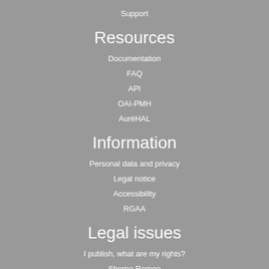Support
Resources
Documentation
FAQ
API
OAI-PMH
AuréHAL
Information
Personal data and privacy
Legal notice
Accessibility
RGAA
Legal issues
I publish, what are my rights?
Sherpa Romeo
Portails